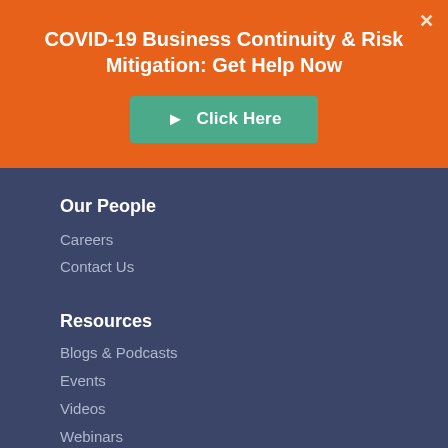COVID-19 Business Continuity & Risk Mitigation: Get Help Now
[Figure (other): Green button with arrow icon and text 'Click Here']
Our People
Careers
Contact Us
Resources
Blogs & Podcasts
Events
Videos
Webinars